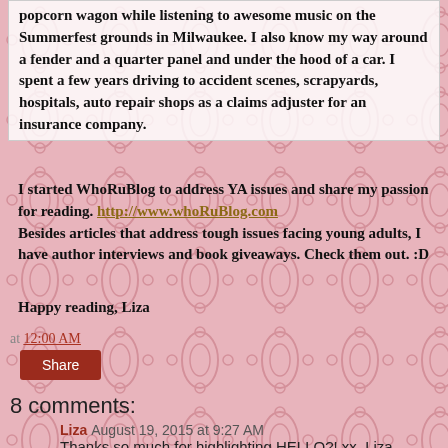popcorn wagon while listening to awesome music on the Summerfest grounds in Milwaukee. I also know my way around a fender and a quarter panel and under the hood of a car. I spent a few years driving to accident scenes, scrapyards, hospitals, auto repair shops as a claims adjuster for an insurance company.
I started WhoRuBlog to address YA issues and share my passion for reading. http://www.whoRuBlog.com Besides articles that address tough issues facing young adults, I have author interviews and book giveaways. Check them out. :D
Happy reading, Liza
at 12:00 AM
Share
8 comments:
Liza August 19, 2015 at 9:27 AM
Thanks so much for highlighting HELLO?! xx, Liza
Reply